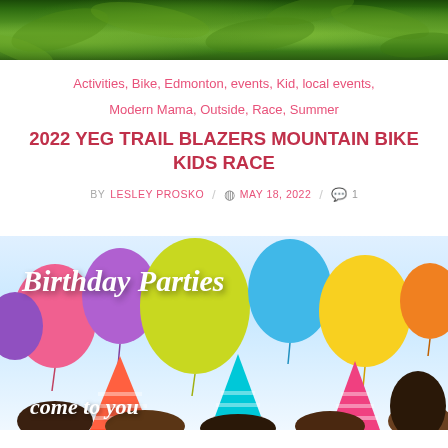[Figure (photo): Top portion of an outdoor photo showing green foliage/trees]
Activities, Bike, Edmonton, events, Kid, local events, Modern Mama, Outside, Race, Summer
2022 YEG TRAIL BLAZERS MOUNTAIN BIKE KIDS RACE
BY LESLEY PROSKO / MAY 18, 2022 / 1 comment
[Figure (photo): Birthday Parties promotional image with children wearing party hats and colorful balloons in background. Text reads 'Birthday Parties come to you']